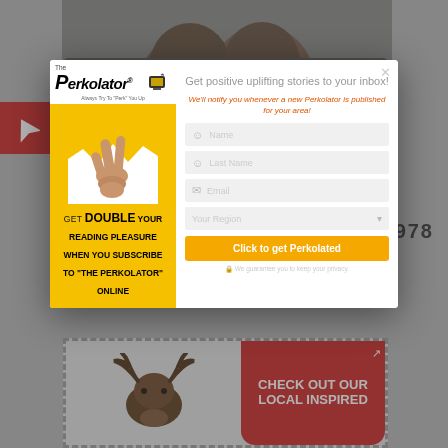[Figure (photo): Background screenshot of a webpage showing two smiling elderly Black people (a man and a woman) in the top photo, a license plate with numbers 166...978, navigation icon, and a bottom banner with a moose and CHECK OUT OUR LOCAL INSPIRED text.]
[Figure (screenshot): Modal popup overlay for 'The Perkolator' newsletter subscription. Left panel is yellow with Perkolator logo, peace-sign hand image, and text 'GET DOUBLE YOUR READING PLEASURE WHEN YOU SUBSCRIBE TO THE PERKOLATOR ONLINE'. Right panel has form fields for Name, Last Name, Email, Your Region, and a 'Click to get Perkolated' button.]
Get positive uplifting stories to your inbox!
We'll notify you whenever a new Perkolator is published for your area!
GET DOUBLE YOUR READING PLEASURE WHEN YOU SUBSCRIBE TO "THE PERKOLATOR" ONLINE
Click to get Perkolated
CHECK OUT OUR LOCAL INSPIRED